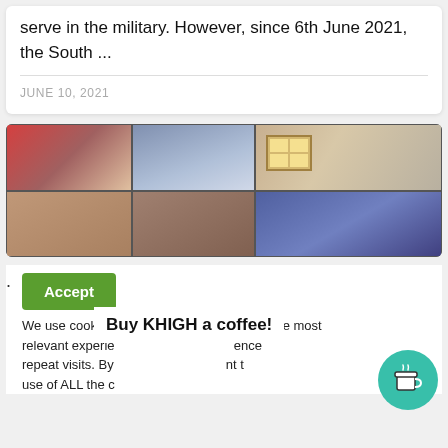serve in the military. However, since 6th June 2021, the South ...
JUNE 10, 2021
[Figure (screenshot): Video call grid showing multiple participants, with a window visible in the upper right area]
Accept
We use cookies on our website to give you the most relevant experience by remembering your preferences and repeat visits. By clicking “Accept”, you consent to the use of ALL the cookies.
Buy KHIGH a coffee!